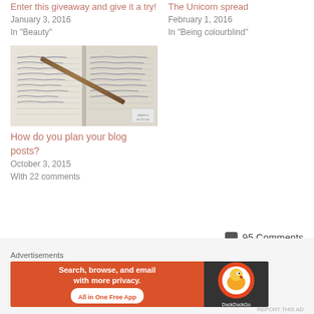Enter this giveaway and give it a try!
January 3, 2016
In "Beauty"
The Unicorn spread
February 1, 2016
In "Being colourblind"
[Figure (photo): Open notebook with handwritten notes and a pen/pencil resting diagonally across the pages]
How do you plan your blog posts?
October 3, 2015
With 22 comments
💬 95 Comments
Advertisements
[Figure (screenshot): DuckDuckGo advertisement banner: Search, browse, and email with more privacy. All in One Free App]